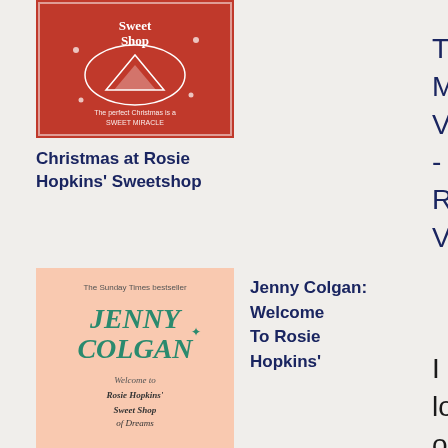[Figure (illustration): Book cover for 'Christmas at Rosie Hopkins' Sweetshop' - red background with Christmas themed white illustrated graphics]
Christmas at Rosie Hopkins' Sweetshop
[Figure (illustration): Book cover for 'Jenny Colgan: Welcome to Rosie Hopkins' Sweet Shop of Dreams' - peach/pink background with teal Jenny Colgan title text and illustrated village scene]
Jenny Colgan: Welcome To Rosie Hopkins'
Sweetshop Of Dreams
[Figure (illustration): Book cover for 'The Impulse Purchase' by Veronica Henry - teal/blue background with illustrated house and decorative text]
Veronica Henry: The Impulse
Th Ma Vo - Ro Ve
I lov ope To me it is the per art for it has eve -